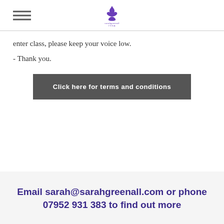[logo: sarahgreenall YOGA]
enter class, please keep your voice low.
- Thank you.
Click here for terms and conditions
Email sarah@sarahgreenall.com or phone 07952 931 383 to find out more